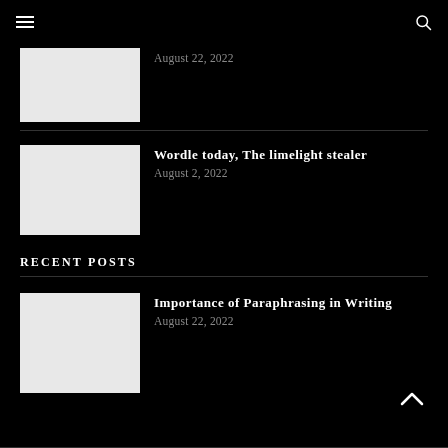Navigation bar with hamburger menu and search icon
[Figure (photo): Thumbnail image placeholder (light gray rectangle)]
August 22, 2022
[Figure (photo): Thumbnail image placeholder (light gray rectangle)]
Wordle today, The limelight stealer
August 2, 2022
RECENT POSTS
[Figure (photo): Thumbnail image placeholder (light gray rectangle)]
Importance of Paraphrasing in Writing
August 22, 2022